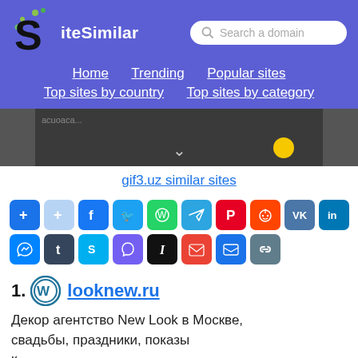SiteSimilar — Search a domain — Home, Trending, Popular sites, Top sites by country, Top sites by category
[Figure (screenshot): Dark image strip with chevron arrow and yellow circle, partial website screenshot]
gif3.uz similar sites
[Figure (infographic): Social sharing buttons: AddToAny, Facebook, Twitter, WhatsApp, Telegram, Pinterest, Reddit, VK, LinkedIn, Messenger, Tumblr, Skype, Viber, Instapaper, Gmail, Email, Copy Link]
21. looknew.ru — Декор агентство New Look в Москве, свадьбы, праздники, показы